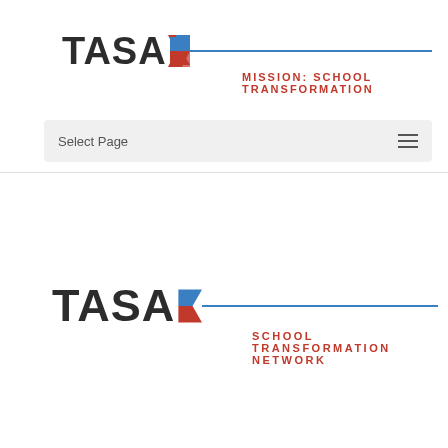[Figure (logo): TASA Mission: School Transformation logo with red/blue chevron and horizontal bar]
Select Page
[Figure (logo): TASA School Transformation Network logo with red/blue chevron and horizontal bar]